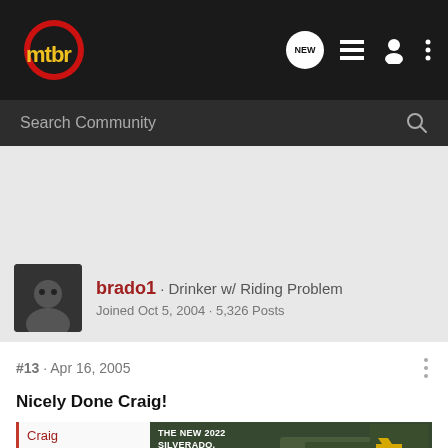[Figure (logo): mtbr logo with red circle and yellow/orange text]
Search Community
brado1 · Drinker w/ Riding Problem
Joined Oct 5, 2004 · 5,326 Posts
#13 · Apr 16, 2005
Nicely Done Craig!
[Figure (photo): Chevrolet Silverado 2022 advertisement banner with truck image and Chevrolet logo]
Craig